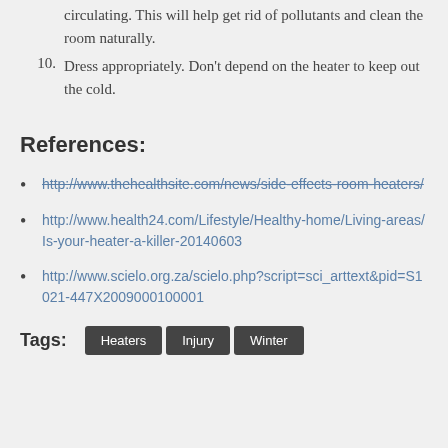circulating. This will help get rid of pollutants and clean the room naturally.
10. Dress appropriately. Don't depend on the heater to keep out the cold.
References:
http://www.thehealthsite.com/news/side-effects-room-heaters/
http://www.health24.com/Lifestyle/Healthy-home/Living-areas/Is-your-heater-a-killer-20140603
http://www.scielo.org.za/scielo.php?script=sci_arttext&pid=S1021-447X2009000100001
Tags: Heaters Injury Winter